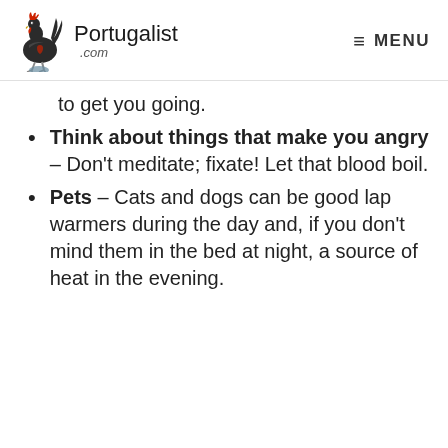Portugalist .com  ≡ MENU
to get you going.
Think about things that make you angry – Don't meditate; fixate! Let that blood boil.
Pets – Cats and dogs can be good lap warmers during the day and, if you don't mind them in the bed at night, a source of heat in the evening.